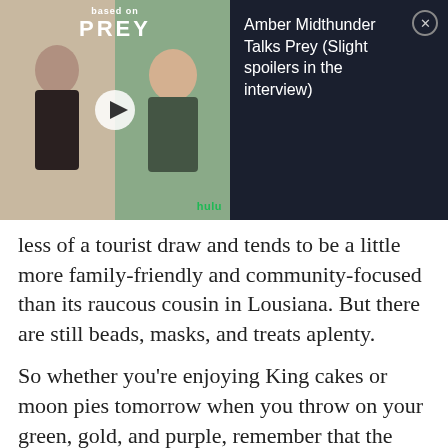[Figure (screenshot): Video overlay for 'Amber Midthunder Talks Prey (Slight spoilers in the interview)' showing a video thumbnail with two women and a play button, Prey logo, Hulu badge, and a close button on a dark background.]
less of a tourist draw and tends to be a little more family-friendly and community-focused than its raucous cousin in Lousiana. But there are still beads, masks, and treats aplenty.
So whether you’re enjoying King cakes or moon pies tomorrow when you throw on your green, gold, and purple, remember that the Mardi Gras we know and love today has deep roots and a fascinating history that’s worth knowing.
Want more stories like this? Become a subscriber